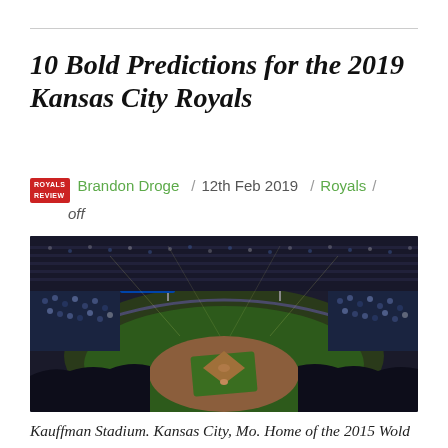10 Bold Predictions for the 2019 Kansas City Royals
Brandon Droge / 12th Feb 2019 / Royals / off
[Figure (photo): Aerial panoramic view of Kauffman Stadium in Kansas City at night, packed with fans, showing the baseball diamond lit up with stadium lights]
Kauffman Stadium. Kansas City, Mo. Home of the 2015 Wold Champion Kansas City Royals. See our 10 bold predictions for the